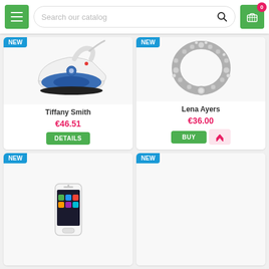Search our catalog — navigation header with menu, search bar, and cart (0 items)
[Figure (photo): White and blue electric steam iron product photo with NEW badge]
Tiffany Smith
€46.51
DETAILS
[Figure (photo): Ornate silver/crystal beaded necklace product photo with NEW badge]
Lena Ayers
€36.00
BUY
[Figure (photo): Smartphone (iPhone-like) product photo with NEW badge — partially visible at bottom]
[Figure (photo): Fourth product (partially visible) with NEW badge at bottom right]